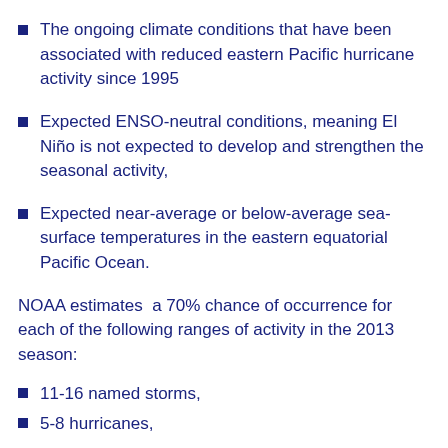The ongoing climate conditions that have been associated with reduced eastern Pacific hurricane activity since 1995
Expected ENSO-neutral conditions, meaning El Niño is not expected to develop and strengthen the seasonal activity,
Expected near-average or below-average sea-surface temperatures in the eastern equatorial Pacific Ocean.
NOAA estimates  a 70% chance of occurrence for each of the following ranges of activity in the 2013 season:
11-16 named storms,
5-8 hurricanes,
1-4 major hurricanes,